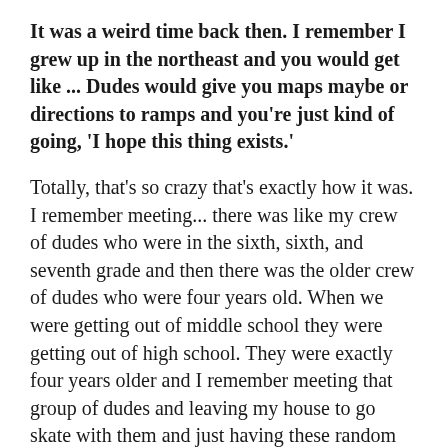It was a weird time back then. I remember I grew up in the northeast and you would get like ... Dudes would give you maps maybe or directions to ramps and you're just kind of going, 'I hope this thing exists.'
Totally, that's so crazy that's exactly how it was. I remember meeting... there was like my crew of dudes who were in the sixth, sixth, and seventh grade and then there was the older crew of dudes who were four years old. When we were getting out of middle school they were getting out of high school. They were exactly four years older and I remember meeting that group of dudes and leaving my house to go skate with them and just having these random directions. You'd write them down on a piece of paper because there was no nothing back ... you just called someone on the phone—leaving my house and street skating to parts of town that I had